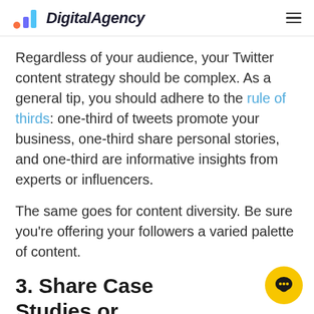DigitalAgency
Regardless of your audience, your Twitter content strategy should be complex. As a general tip, you should adhere to the rule of thirds: one-third of tweets promote your business, one-third share personal stories, and one-third are informative insights from experts or influencers.
The same goes for content diversity. Be sure you're offering your followers a varied palette of content.
3. Share Case Studies or